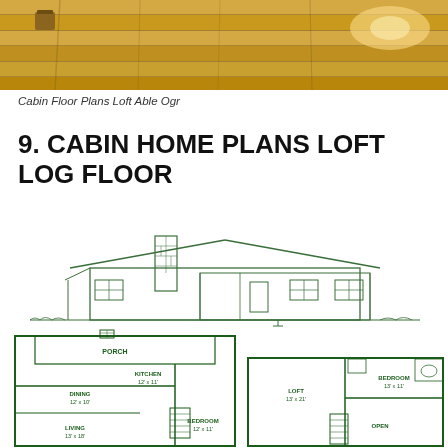[Figure (photo): Interior photo of a log cabin sauna or loft area showing wooden beams and warm lighting]
Cabin Floor Plans Loft Able Ogr
9. CABIN HOME PLANS LOFT LOG FLOOR
[Figure (engineering-diagram): Architectural drawings of a log cabin: exterior elevation view showing a ranch-style cabin with porch, stone chimney, and two floor plan layouts showing rooms including Porch, Kitchen 12'x11', Dining 12'x10', Living 13'x18', Bedroom 12'x11' on ground floor, and Loft 13'x21', Bedroom 13'x11', Open area on upper floor]